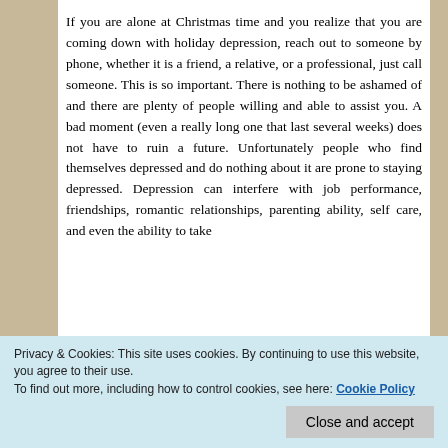If you are alone at Christmas time and you realize that you are coming down with holiday depression, reach out to someone by phone, whether it is a friend, a relative, or a professional, just call someone. This is so important. There is nothing to be ashamed of and there are plenty of people willing and able to assist you. A bad moment (even a really long one that last several weeks) does not have to ruin a future. Unfortunately people who find themselves depressed and do nothing about it are prone to staying depressed. Depression can interfere with job performance, friendships, romantic relationships, parenting ability, self care, and even the ability to take
Privacy & Cookies: This site uses cookies. By continuing to use this website, you agree to their use.
To find out more, including how to control cookies, see here: Cookie Policy
more tired than normal or start sleeping through the